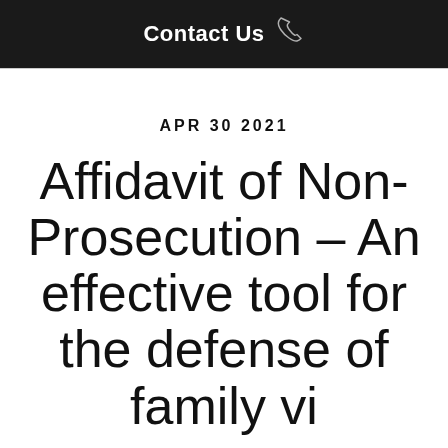Contact Us
APR 30 2021
Affidavit of Non-Prosecution – An effective tool for the defense of family violence